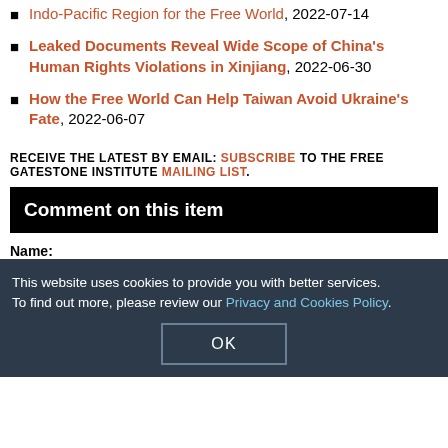Indo-Pacific Region for the Free World, 2022-07-14
Leaked Documents Reveal Wide Scope of China's Human Rights Violations in Xinjiang, 2022-06-30
How the Free World Can Help Taiwan Avoid Ukraine's Fate, 2022-06-07
RECEIVE THE LATEST BY EMAIL: SUBSCRIBE TO THE FREE GATESTONE INSTITUTE MAILING LIST.
Comment on this item
Name:
Email Address:
Comments:
This website uses cookies to provide you with better services. To find out more, please review our Privacy and Cookies Policy.